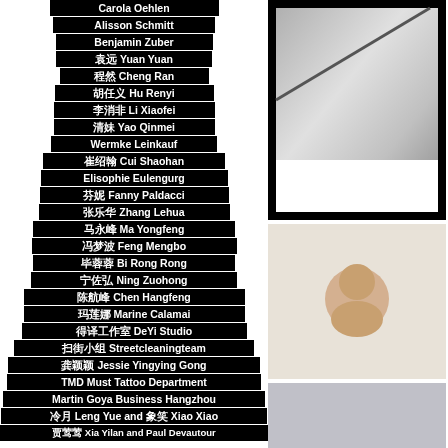Carola Oehlen
Alisson Schmitt
Benjamin Zuber
袁远 Yuan Yuan
程然 Cheng Ran
胡任义 Hu Renyi
李消非 Li Xiaofei
清妹 Yao Qinmei
Wermke Leinkauf
崔绍翰 Cui Shaohan
Elisophie Eulengurg
芬妮 Fanny Paldacci
张乐华 Zhang Lehua
马永峰 Ma Yongfeng
冯梦波 Feng Mengbo
毕蓉蓉 Bi Rong Rong
宁佐弘 Ning Zuohong
陈航峰 Chen Hangfeng
玛莲娜 Marine Calamai
得译工作室 DeYi Studio
扫街小组 Streetcleaningteam
龚颖颖 Jessie Yingying Gong
TMD Must Tattoo Department
Martin Goya Business Hangzhou
冷月 Leng Yue and 象笑 Xiao Xiao
贾莺莺 Xia Yilan and Paul Devautour
[Figure (photo): Framed artwork or photo with diagonal line element, dark border]
[Figure (photo): Portrait photo of a person, circular crop, light background]
[Figure (photo): Gray background photo, partial view]